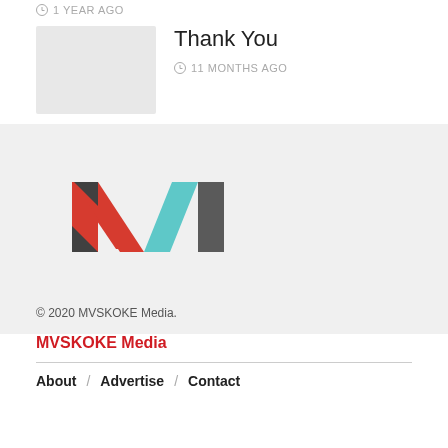1 YEAR AGO
Thank You
11 MONTHS AGO
[Figure (logo): MVSKOKE Media logo — geometric M shape made of red, teal, and dark gray triangular/parallelogram shapes]
© 2020 MVSKOKE Media.
MVSKOKE Media
About / Advertise / Contact